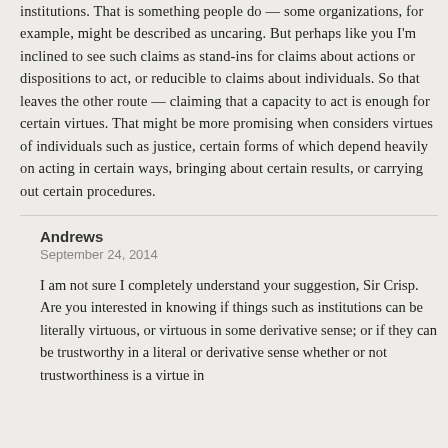institutions. That is something people do — some organizations, for example, might be described as uncaring. But perhaps like you I'm inclined to see such claims as stand-ins for claims about actions or dispositions to act, or reducible to claims about individuals. So that leaves the other route — claiming that a capacity to act is enough for certain virtues. That might be more promising when considers virtues of individuals such as justice, certain forms of which depend heavily on acting in certain ways, bringing about certain results, or carrying out certain procedures.
Andrews
September 24, 2014
I am not sure I completely understand your suggestion, Sir Crisp. Are you interested in knowing if things such as institutions can be literally virtuous, or virtuous in some derivative sense; or if they can be trustworthy in a literal or derivative sense whether or not trustworthiness is a virtue in